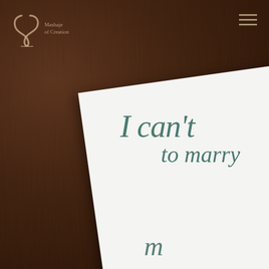[Figure (photo): A photograph of a white greeting/wedding card placed at an angle on a dark wood surface. The card shows the text 'I can't' and 'to marry' in italic teal/dark green script font. A logo reading 'Mashaje of Creation' with a decorative emblem is visible in the top-left corner of the photo, and a hamburger menu icon is in the top-right.]
I can't
to marry
Mashaje of Creation